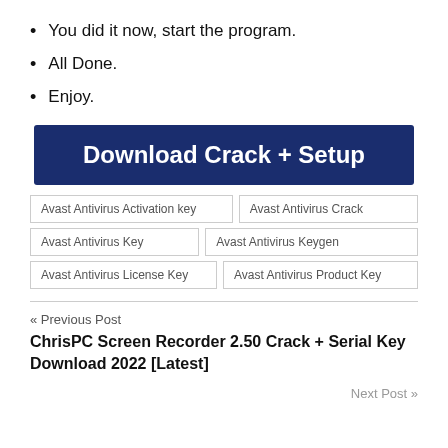You did it now, start the program.
All Done.
Enjoy.
[Figure (other): Dark blue button with white bold text reading 'Download Crack + Setup']
Avast Antivirus Activation key | Avast Antivirus Crack | Avast Antivirus Key | Avast Antivirus Keygen | Avast Antivirus License Key | Avast Antivirus Product Key
« Previous Post
ChrisPC Screen Recorder 2.50 Crack + Serial Key Download 2022 [Latest]
Next Post »